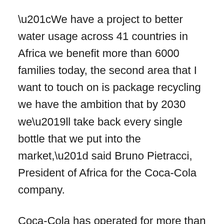“We have a project to better water usage across 41 countries in Africa we benefit more than 6000 families today, the second area that I want to touch on is package recycling we have the ambition that by 2030 we’ll take back every single bottle that we put into the market,” said Bruno Pietracci, President of Africa for the Coca-Cola company.
Coca-Cola has operated for more than 60 years in Ethiopia and now has a total of four factories in the country.
On the African continent, the group has